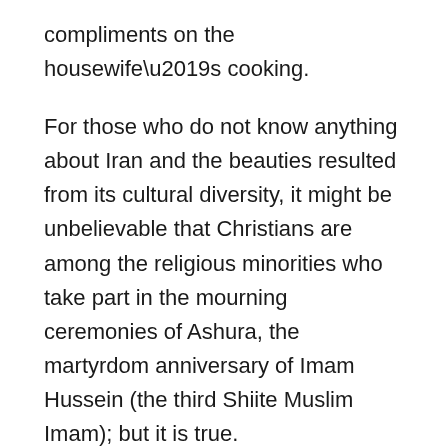compliments on the housewife’s cooking.
For those who do not know anything about Iran and the beauties resulted from its cultural diversity, it might be unbelievable that Christians are among the religious minorities who take part in the mourning ceremonies of Ashura, the martyrdom anniversary of Imam Hussein (the third Shiite Muslim Imam); but it is true.
Attending Christmas Celebration, an Opportunity to Introduce True Islam